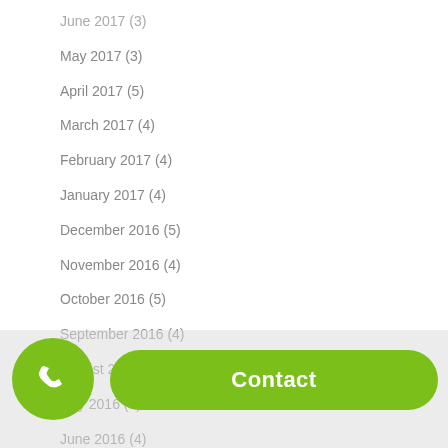June 2017 (3)
May 2017 (3)
April 2017 (5)
March 2017 (4)
February 2017 (4)
January 2017 (4)
December 2016 (5)
November 2016 (4)
October 2016 (5)
September 2016 (4)
August 2016 (4)
July 2016 (5)
June 2016 (4)
May 2016 (4)
April 2016 (5)
March 2016 (4)
February 2016 (4)
January 2016 (...)
December 2015 (...)
November 2015 (...)